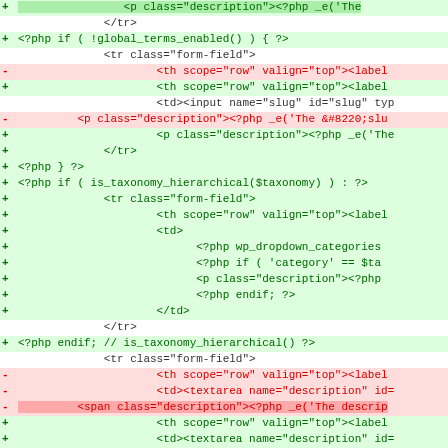[Figure (screenshot): A code diff view showing PHP/HTML template changes. Green lines with + markers indicate additions; red lines with - markers indicate removals. The diff shows changes to a WordPress taxonomy edit form, including modifications to form fields for slug, description, and taxonomy hierarchy handling.]